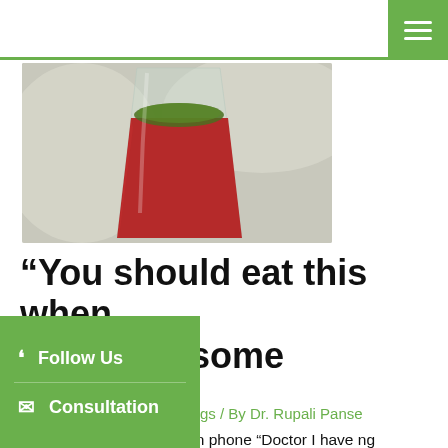[Figure (photo): A glass containing a red beverage, possibly a juice or cold drink, viewed from above and slightly to the side on a light background.]
“You should eat this when sick: Wholesome diet.”
Follow Us
Consultation
gs / By Dr. Rupali Panse
nt suffering from diarrhea on phone “Doctor I have ng sensation in my stomach, can I eat something cold, ice cream may be?” Me: Are you asking or telling me after